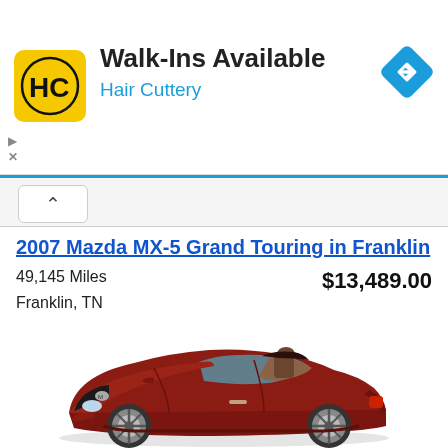[Figure (logo): Hair Cuttery ad banner with HC logo, 'Walk-Ins Available' headline, 'Hair Cuttery' subline, and navigation arrow icon]
2007 Mazda MX-5 Grand Touring in Franklin
49,145 Miles
Franklin, TN
$13,489.00
[Figure (photo): Red 2007 Mazda MX-5 Miata convertible with tan interior, viewed from a front-right angle]